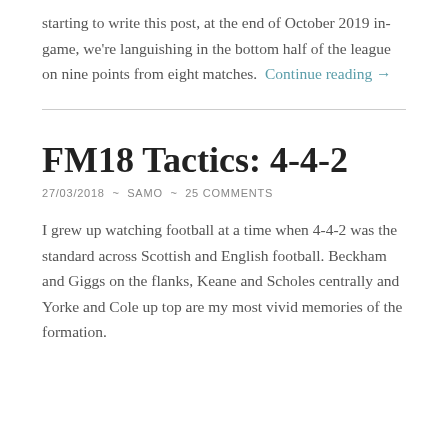starting to write this post, at the end of October 2019 in-game, we're languishing in the bottom half of the league on nine points from eight matches.  Continue reading →
FM18 Tactics: 4-4-2
27/03/2018  ~  SAMO  ~  25 COMMENTS
I grew up watching football at a time when 4-4-2 was the standard across Scottish and English football. Beckham and Giggs on the flanks, Keane and Scholes centrally and Yorke and Cole up top are my most vivid memories of the formation.